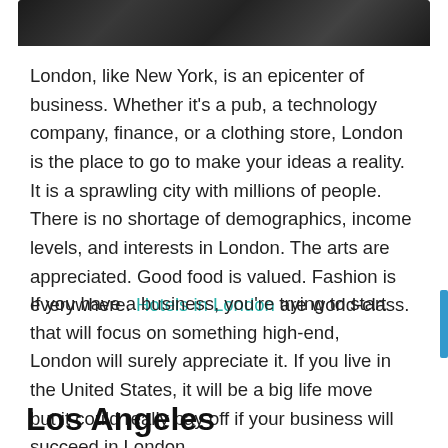[Figure (photo): Black and white photo strip of a city street scene, partially visible at top of page]
London, like New York, is an epicenter of business. Whether it’s a pub, a technology company, finance, or a clothing store, London is the place to go to make your ideas a reality. It is a sprawling city with millions of people. There is no shortage of demographics, income levels, and interests in London. The arts are appreciated. Good food is valued. Fashion is everywhere. Hotels in London are world-class.
If you have a business, you’re trying to start that will focus on something high-end, London will surely appreciate it. If you live in the United States, it will be a big life move but it could really pay off if your business will succeed in London.
Los Angeles